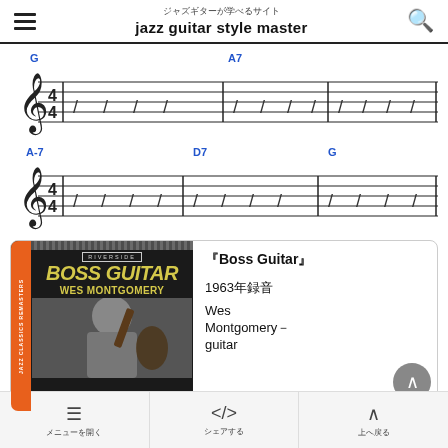ジャズギターが学べるサイト jazz guitar style master
[Figure (music-notation): Two lines of musical notation in 4/4 time with chord symbols G, A7, A-7, D7, G written above the staff in blue. Slash notation used throughout.]
[Figure (illustration): Album cover for 'Boss Guitar' by Wes Montgomery on Riverside label, showing yellow text on dark background with photo of Wes Montgomery holding a guitar]
『Boss Guitar』
1963年録音
Wes Montgomery－guitar
メニューを開く　シェアする　上へ戻る